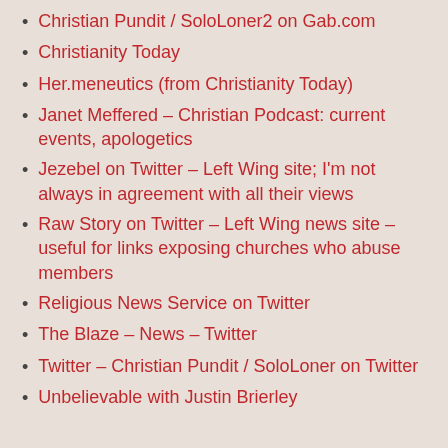Christian Pundit / SoloLoner2 on Gab.com
Christianity Today
Her.meneutics (from Christianity Today)
Janet Meffered – Christian Podcast: current events, apologetics
Jezebel on Twitter – Left Wing site; I'm not always in agreement with all their views
Raw Story on Twitter – Left Wing news site – useful for links exposing churches who abuse members
Religious News Service on Twitter
The Blaze – News – Twitter
Twitter – Christian Pundit / SoloLoner on Twitter
Unbelievable with Justin Brierley